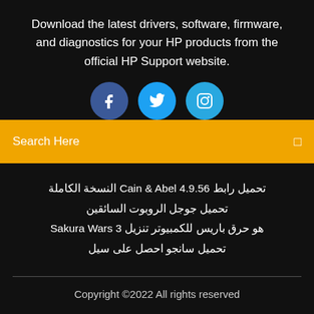Download the latest drivers, software, firmware, and diagnostics for your HP products from the official HP Support website.
[Figure (illustration): Three social media icons: Facebook (dark blue circle), Twitter (blue circle), Instagram (light blue circle)]
Search Here
تحميل رابط Cain & Abel 4.9.56 النسخة الكاملة
تحميل جوجل الروبوت السائقين
هو حرق باريس للكمبيوتر تنزيل Sakura Wars 3
تحميل سانجو احصل على سيل
Copyright ©2022 All rights reserved